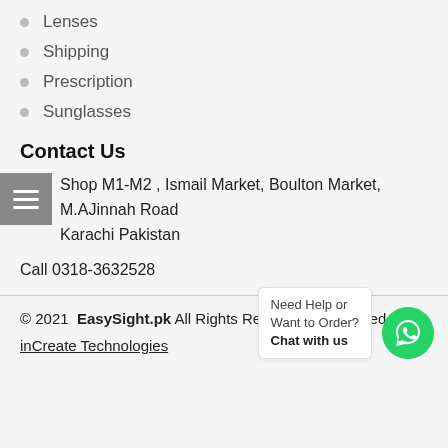Lenses
Shipping
Prescription
Sunglasses
Contact Us
Shop M1-M2 , Ismail Market, Boulton Market, M.AJinnah Road Karachi Pakistan
Call 0318-3632528
© 2021 EasySight.pk All Rights Reserved. Developed by inCreate Technologies
Need Help or Want to Order? Chat with us